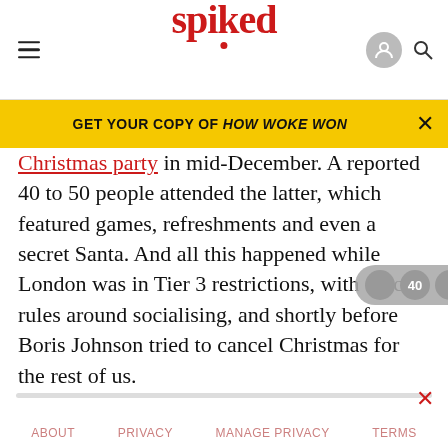spiked
GET YOUR COPY OF HOW WOKE WON
Christmas party in mid-December. A reported 40 to 50 people attended the latter, which featured games, refreshments and even a secret Santa. And all this happened while London was in Tier 3 restrictions, with strict rules around socialising, and shortly before Boris Johnson tried to cancel Christmas for the rest of us.
ABOUT  PRIVACY  MANAGE PRIVACY  TERMS